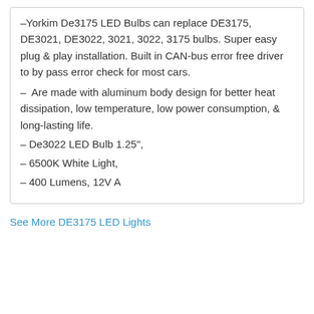–Yorkim De3175 LED Bulbs can replace DE3175, DE3021, DE3022, 3021, 3022, 3175 bulbs. Super easy plug & play installation. Built in CAN-bus error free driver to by pass error check for most cars.
–  Are made with aluminum body design for better heat dissipation, low temperature, low power consumption, & long-lasting life.
– De3022 LED Bulb 1.25",
– 6500K White Light,
– 400 Lumens, 12V A
See More DE3175 LED Lights